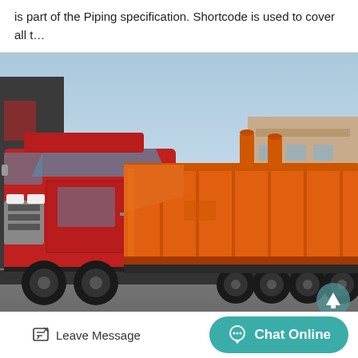is part of the Piping specification. Shortcode is used to cover all t…
[Figure (photo): A large red truck cab pulling a flatbed trailer loaded with large orange industrial equipment (appears to be a dissolved air flotation or water treatment unit), photographed in an industrial yard with buildings in the background.]
Leave Message
Chat Online